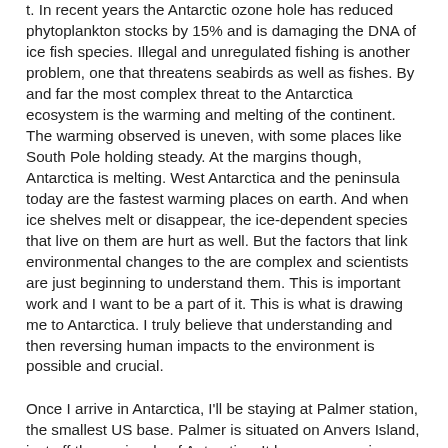t. In recent years the Antarctic ozone hole has reduced phytoplankton stocks by 15% and is damaging the DNA of ice fish species. Illegal and unregulated fishing is another problem, one that threatens seabirds as well as fishes. By and far the most complex threat to the Antarctica ecosystem is the warming and melting of the continent. The warming observed is uneven, with some places like South Pole holding steady. At the margins though, Antarctica is melting. West Antarctica and the peninsula today are the fastest warming places on earth. And when ice shelves melt or disappear, the ice-dependent species that live on them are hurt as well. But the factors that link environmental changes to the are complex and scientists are just beginning to understand them. This is important work and I want to be a part of it. This is what is drawing me to Antarctica. I truly believe that understanding and then reversing human impacts to the environment is possible and crucial.
Once I arrive in Antarctica, I'll be staying at Palmer station, the smallest US base. Palmer is situated on Anvers Island, just off the peninsula of Antarctica. It houses a maximum of 45 people. I'm very excited to be going and I'll be writing